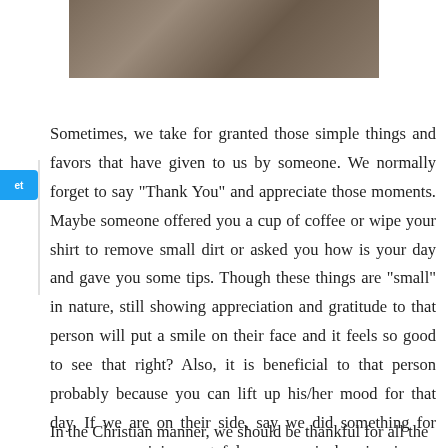[Figure (photo): Aerial or overhead photo showing people or objects on a sandy/gravelly surface with long shadows]
Sometimes, we take for granted those simple things and favors that have given to us by someone. We normally forget to say "Thank You" and appreciate those moments. Maybe someone offered you a cup of coffee or wipe your shirt to remove small dirt or asked you how is your day and gave you some tips. Though these things are "small" in nature, still showing appreciation and gratitude to that person will put a smile on their face and it feels so good to see that right? Also, it is beneficial to that person probably because you can lift up his/her mood for that day. If we are on their side, say we did something for someone, receiving gratefulness can pinch a joy in our hearts.
In the Christian manner, we should be thankful for all the